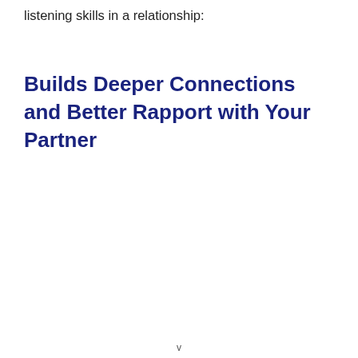listening skills in a relationship:
Builds Deeper Connections and Better Rapport with Your Partner
v